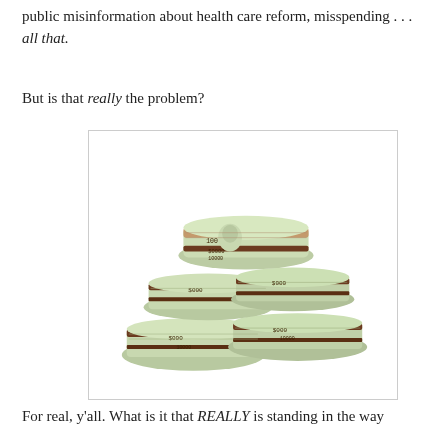public misinformation about health care reform, misspending . . . all that.
But is that really the problem?
[Figure (photo): A large pile of stacked bundles of US $100 dollar bills bound with brown paper bands, arranged in a pyramid-like heap.]
For real, y'all. What is it that REALLY is standing in the way